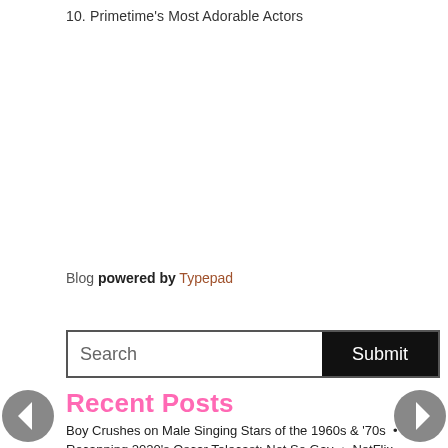10. Primetime's Most Adorable Actors
Blog powered by Typepad
Search [input] Submit [button]
Recent Posts
Boy Crushes on Male Singing Stars of the 1960s & '70s • Recapping 2020's Oscar Telecast: Not So Gay • NetFlix Sitcom, "Special" Adds Another Layer to the Gay Experience • Favorite Gay-Oriented SNL